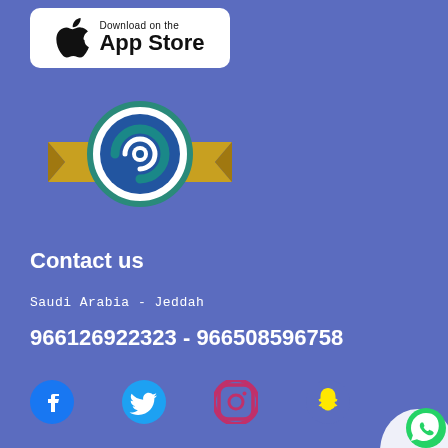[Figure (logo): Download on the App Store badge with Apple logo]
[Figure (logo): Company logo: circular blue-green swirl with gold ribbon/banner behind it]
Contact us
Saudi Arabia - Jeddah
966126922323 - 966508596758
[Figure (infographic): Social media icons row: Facebook (blue), Twitter (blue bird), Instagram (gradient red/pink circle), Snapchat (yellow ghost)]
[Figure (logo): WhatsApp green circle icon at bottom right corner]